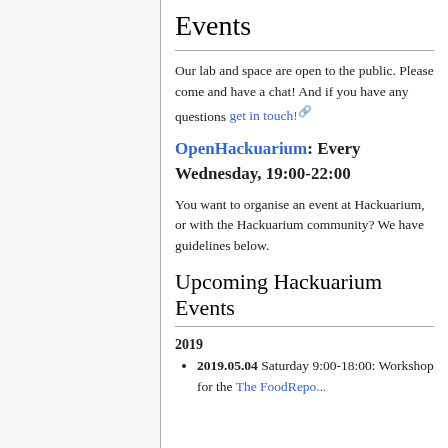Events
Our lab and space are open to the public. Please come and have a chat! And if you have any questions get in touch!
OpenHackuarium: Every Wednesday, 19:00-22:00
You want to organise an event at Hackuarium, or with the Hackuarium community? We have guidelines below.
Upcoming Hackuarium Events
2019
2019.05.04 Saturday 9:00-18:00: Workshop for the The FoodRepo...